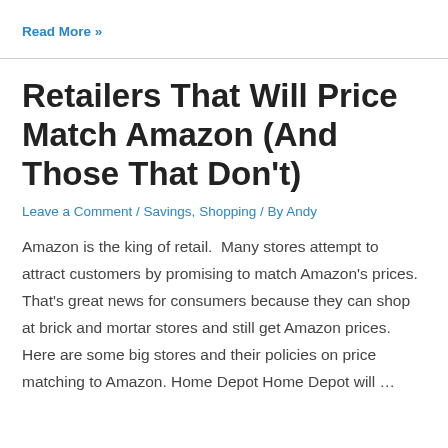Read More »
Retailers That Will Price Match Amazon (And Those That Don't)
Leave a Comment / Savings, Shopping / By Andy
Amazon is the king of retail.  Many stores attempt to attract customers by promising to match Amazon's prices.  That's great news for consumers because they can shop at brick and mortar stores and still get Amazon prices. Here are some big stores and their policies on price matching to Amazon. Home Depot Home Depot will …